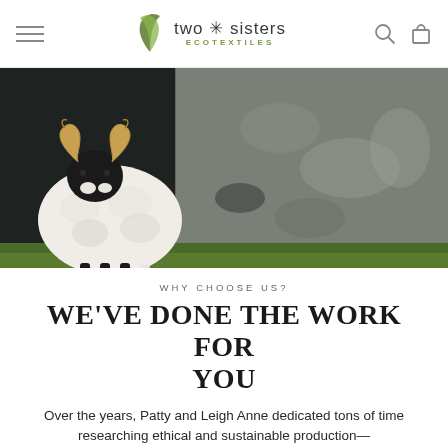two * sisters ECOTEXTILES
[Figure (photo): A white sheep with black face and curled horns standing in front of a weathered grey metal wall with green grass at bottom]
WHY CHOOSE US?
WE'VE DONE THE WORK FOR YOU
Over the years, Patty and Leigh Anne dedicated tons of time researching ethical and sustainable production—